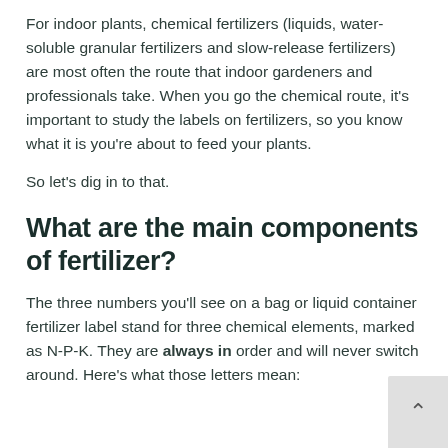For indoor plants, chemical fertilizers (liquids, water-soluble granular fertilizers and slow-release fertilizers) are most often the route that indoor gardeners and professionals take. When you go the chemical route, it's important to study the labels on fertilizers, so you know what it is you're about to feed your plants.
So let's dig in to that.
What are the main components of fertilizer?
The three numbers you'll see on a bag or liquid container fertilizer label stand for three chemical elements, marked as N-P-K. They are always in order and will never switch around. Here's what those letters mean: